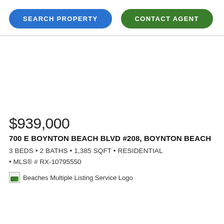SEARCH PROPERTY
CONTACT AGENT
[Figure (other): Empty white image area for property photo]
$939,000
700 E BOYNTON BEACH BLVD #208, BOYNTON BEACH
3 BEDS • 2 BATHS • 1,385 SQFT • RESIDENTIAL
• MLS® # RX-10795550
[Figure (logo): Beaches Multiple Listing Service Logo]